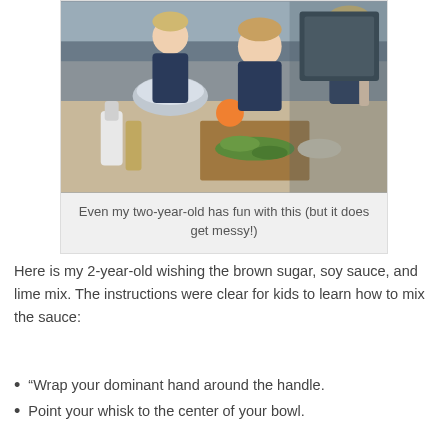[Figure (photo): Children cooking together in a kitchen, preparing ingredients including green vegetables on a cutting board, with mixing bowls and kitchen supplies on the counter.]
Even my two-year-old has fun with this (but it does get messy!)
Here is my 2-year-old wishing the brown sugar, soy sauce, and lime mix. The instructions were clear for kids to learn how to mix the sauce:
“Wrap your dominant hand around the handle.
Point your whisk to the center of your bowl.
Rotate your wrist to make a circle.  Keep your elbow still.”
But my son is two, so I let him do it however he wanted.  But my 4 -year-old was able to follow those directions clearly. I was just happy that they w both